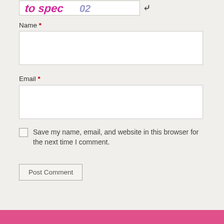[Figure (other): CAPTCHA image showing handwritten text 'to spec...' in pink/magenta color with a refresh/reload icon button to the right]
Name *
[Figure (other): Name text input field (empty)]
Email *
[Figure (other): Email text input field (empty)]
Save my name, email, and website in this browser for the next time I comment.
Post Comment